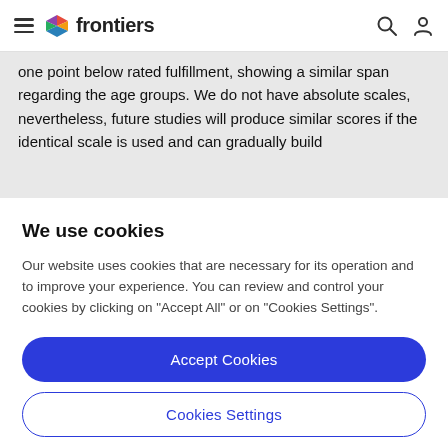frontiers
one point below rated fulfillment, showing a similar span regarding the age groups. We do not have absolute scales, nevertheless, future studies will produce similar scores if the identical scale is used and can gradually build
We use cookies
Our website uses cookies that are necessary for its operation and to improve your experience. You can review and control your cookies by clicking on "Accept All" or on "Cookies Settings".
Accept Cookies
Cookies Settings